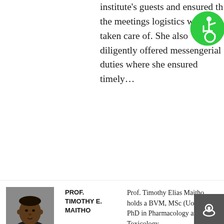institute's guests and ensured the meetings logistics were taken care of. She also diligently offered messengerial duties where she ensured timely…
[Figure (photo): Portrait photo of Prof. Timothy E. Maitho, an elderly man in a suit]
PROF. TIMOTHY E. MAITHO
Prof. Timothy Elias Maitho holds a BVM, MSc (UoN) and PhD in Pharmacology and Toxicology